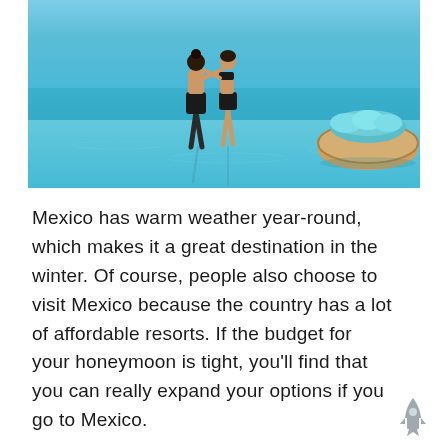[Figure (photo): Couple holding hands walking on an infinity pool with turquoise water, and a round rattan daybed with teal pillows floating in the background]
Mexico has warm weather year-round, which makes it a great destination in the winter. Of course, people also choose to visit Mexico because the country has a lot of affordable resorts. If the budget for your honeymoon is tight, you'll find that you can really expand your options if you go to Mexico.
You don't have to be wealthy to have a lovely honeymoon. A lot of travelers are able to have stunning vacations in this country without